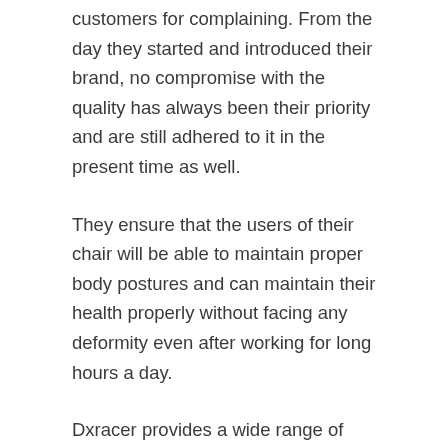customers for complaining. From the day they started and introduced their brand, no compromise with the quality has always been their priority and are still adhered to it in the present time as well.
They ensure that the users of their chair will be able to maintain proper body postures and can maintain their health properly without facing any deformity even after working for long hours a day.
Dxracer provides a wide range of chairs having all different features from one another. Each product of Dxracer is new and unique in its way with all new different features introduced every time with each different product.